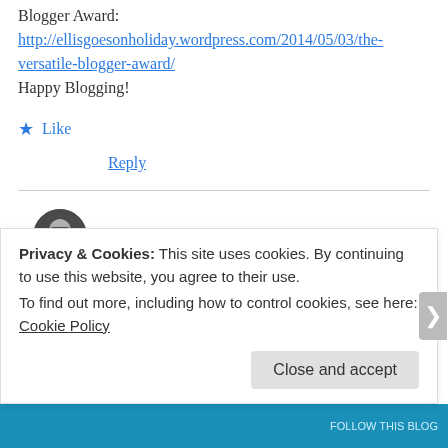Blogger Award: http://ellisgoesonholiday.wordpress.com/2014/05/03/the-versatile-blogger-award/
Happy Blogging!
★ Like
Reply
Sha  May 6, 2014 at 11:59 pm
Hello!! Thanks for reading and the award,
Privacy & Cookies: This site uses cookies. By continuing to use this website, you agree to their use.
To find out more, including how to control cookies, see here:
Cookie Policy
Close and accept